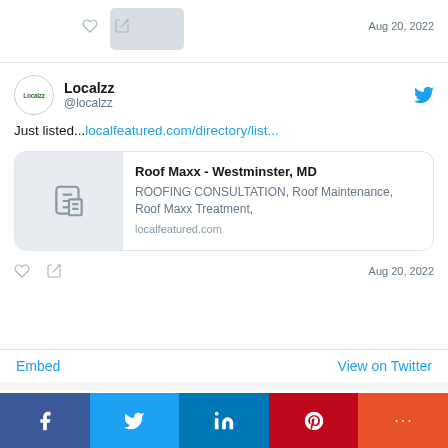[Figure (screenshot): Top partial tweet with thumbnail image, heart and retweet icons, and date Aug 20, 2022]
Aug 20, 2022
[Figure (screenshot): Localzz Twitter post. @localzz Just listed...localfeatured.com/directory/list... with a link preview card for Roof Maxx - Westminster, MD: ROOFING CONSULTATION, Roof Maintenance, Roof Maxx Treatment, localfeatured.com. Date: Aug 20, 2022]
Localzz @localzz Just listed...localfeatured.com/directory/list...
Roof Maxx - Westminster, MD ROOFING CONSULTATION, Roof Maintenance, Roof Maxx Treatment, localfeatured.com
Aug 20, 2022
Embed
View on Twitter